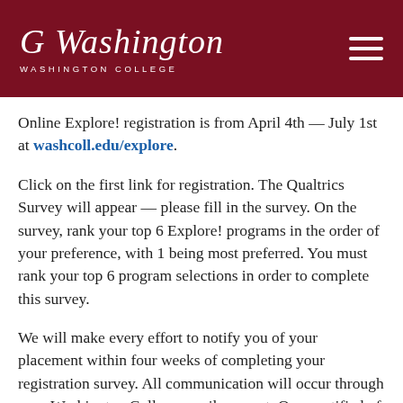Washington College — navigation header with logo and hamburger menu
Online Explore! registration is from April 4th — July 1st at washcoll.edu/explore.
Click on the first link for registration. The Qualtrics Survey will appear — please fill in the survey. On the survey, rank your top 6 Explore! programs in the order of your preference, with 1 being most preferred. You must rank your top 6 program selections in order to complete this survey.
We will make every effort to notify you of your placement within four weeks of completing your registration survey. All communication will occur through your Washington College email account. Once notified of your placement, you may need to fill out